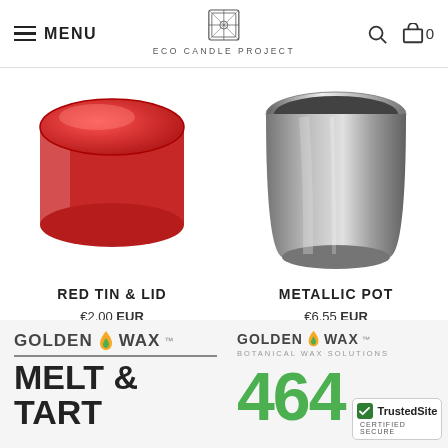MENU | ECO CANDLE PROJECT | [search] [cart 0]
[Figure (photo): Red metallic tin with lid, cylindrical candle container]
RED TIN & LID
€2,00 EUR
[Figure (photo): Metallic silver pot, cylindrical without lid]
METALLIC POT
€6,55 EUR
[Figure (logo): Golden Wax logo with flame drop icon and text MELT & TART]
[Figure (logo): Golden Wax Botanical Wax Solutions logo with number 464 in green and TrustedSite certified secure badge]